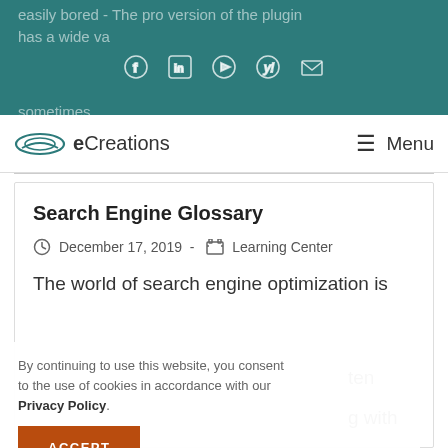easily bored - The pro version of the plugin has a wide va... sometimes...
[Figure (logo): Social media icons: Facebook, LinkedIn, YouTube, Yelp, Email in teal header]
[Figure (logo): eCreations logo with swoosh icon and text]
≡ Menu
Search Engine Glossary
December 17, 2019  -  Learning Center
The world of search engine optimization is ten g with we are
By continuing to use this website, you consent to the use of cookies in accordance with our Privacy Policy.
ACCEPT